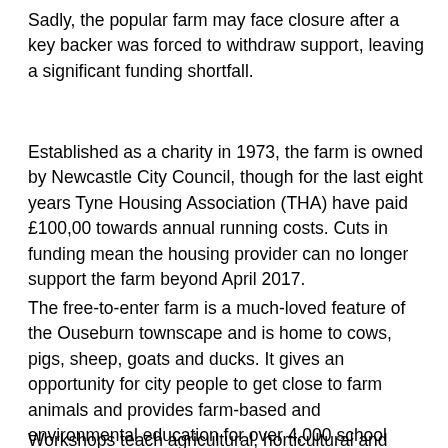Sadly, the popular farm may face closure after a key backer was forced to withdraw support, leaving a significant funding shortfall.
Established as a charity in 1973, the farm is owned by Newcastle City Council, though for the last eight years Tyne Housing Association (THA) have paid £100,00 towards annual running costs. Cuts in funding mean the housing provider can no longer support the farm beyond April 2017.
The free-to-enter farm is a much-loved feature of the Ouseburn townscape and is home to cows, pigs, sheep, goats and ducks. It gives an opportunity for city people to get close to farm animals and provides farm-based and environmental education for over 4,000 school children and students in term-time.
Workshops teach agricultural, horticultural and